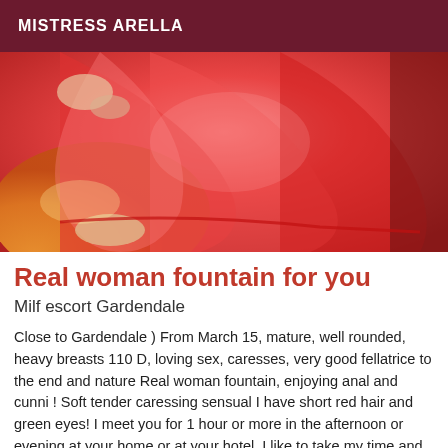MISTRESS ARELLA
[Figure (photo): Photo of person wearing red/pink flowing fabric dress or skirt, with orange satin fabric visible in lower left, seated or posed on colorful fabric background]
Real woman fountain for you
Milf escort Gardendale
Close to Gardendale ) From March 15, mature, well rounded, heavy breasts 110 D, loving sex, caresses, very good fellatrice to the end and nature Real woman fountain, enjoying anal and cunni ! Soft tender caressing sensual I have short red hair and green eyes! I meet you for 1 hour or more in the afternoon or evening at your home or at your hotel. I like to take my time and several